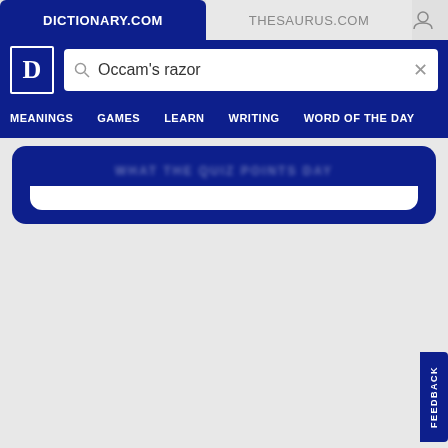DICTIONARY.COM
THESAURUS.COM
[Figure (screenshot): Dictionary.com website header with logo, search bar containing 'Occam's razor', navigation menu with MEANINGS, GAMES, LEARN, WRITING, WORD OF THE DAY, and a blue content card below.]
FEEDBACK